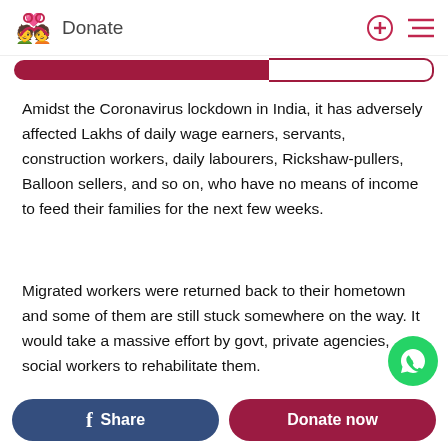Donate
Amidst the Coronavirus lockdown in India, it has adversely affected Lakhs of daily wage earners, servants, construction workers, daily labourers, Rickshaw-pullers, Balloon sellers, and so on, who have no means of income to feed their families for the next few weeks.
Migrated workers were returned back to their hometown and some of them are still stuck somewhere on the way. It would take a massive effort by govt, private agencies, social workers to rehabilitate them.
We are trying to support 40-50 families bring back their lives on track.